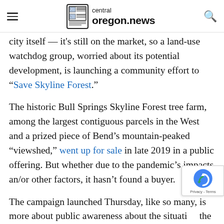central oregon.news
city itself — it's still on the market, so a land-use watchdog group, worried about its potential development, is launching a community effort to “Save Skyline Forest.”
The historic Bull Springs Skyline Forest tree farm, among the largest contiguous parcels in the West and a prized piece of Bend’s mountain-peaked “viewshed,” went up for sale in late 2019 in a public offering. But whether due to the pandemic’s impacts an/or other factors, it hasn’t found a buyer.
The campaign launched Thursday, like so many, is more about public awareness about the situation the development concerns, at this point. But ca awareness lead to a successful effort to preserve the